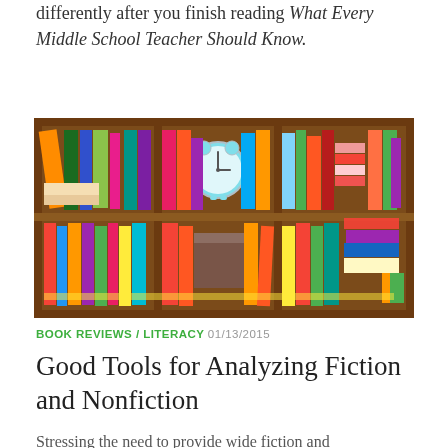differently after you finish reading What Every Middle School Teacher Should Know.
[Figure (illustration): Colorful cartoon bookshelf illustration with multiple shelves of books in various colors and a teal alarm clock in the center shelf.]
BOOK REVIEWS / LITERACY  01/13/2015
Good Tools for Analyzing Fiction and Nonfiction
Stressing the need to provide wide fiction and informational text choices, the authors consider the needs